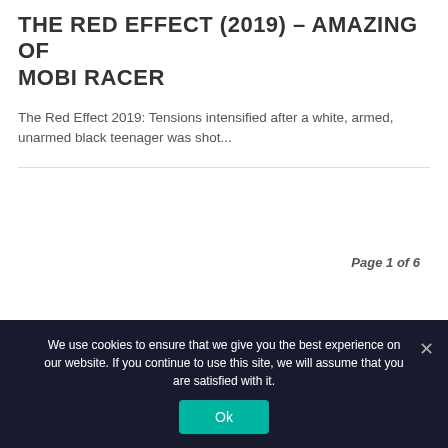THE RED EFFECT (2019) – AMAZING OF MOBI RACER
The Red Effect 2019: Tensions intensified after a white, armed, unarmed black teenager was shot...
[Figure (other): Pagination control showing page buttons: 1/6 (active, dark background), 2, 3, 4, 5, 6 (inactive, outlined)]
Page 1 of 6
We use cookies to ensure that we give you the best experience on our website. If you continue to use this site, we will assume that you are satisfied with it.